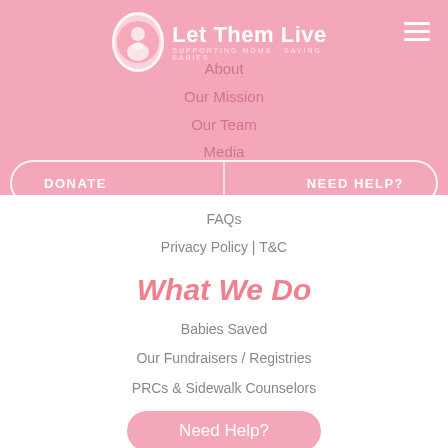[Figure (logo): Let Them Live logo with circular icon of mother and baby, white text on pink background]
About
Our Mission
Our Team
Media
FAQs
Privacy Policy | T&C
What We Do
Babies Saved
Our Fundraisers / Registries
PRCs & Sidewalk Counselors
Need Help?
Get Involved
Volunteer
Internships